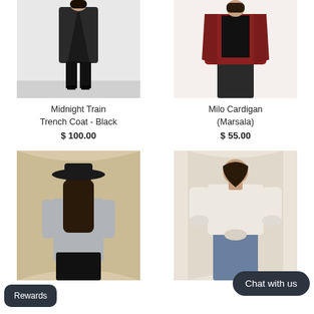[Figure (photo): Woman wearing a black trench coat and black boots against a white wall]
Midnight Train Trench Coat - Black
$ 100.00
[Figure (photo): Woman wearing a marsala/dark red cardigan over black leather pants against a white backdrop]
Milo Cardigan (Marsala)
$ 55.00
[Figure (photo): Woman in a black wide-brim hat and grey sleeveless top with black biker shorts, standing in front of draped curtains]
[Figure (photo): Woman in a white long-sleeve top and blue jeans standing in front of a cream fabric backdrop]
Chat with us
Rewards